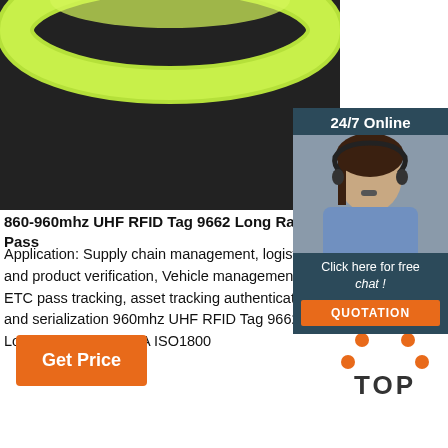[Figure (photo): Green/lime colored wristband/bracelet on dark leather background]
[Figure (infographic): 24/7 Online chat widget with woman wearing headset, 'Click here for free chat!' text, and QUOTATION button]
860-960mhz UHF RFID Tag 9662 Long Range Pass
Application: Supply chain management, logistics and product verification, Vehicle management, ETC pass tracking, asset tracking authentication and serialization 960mhz UHF RFID Tag 9662 Long Range Passive A ISO1800
[Figure (other): Orange 'Get Price' button]
[Figure (logo): TOP badge with orange dots above text]